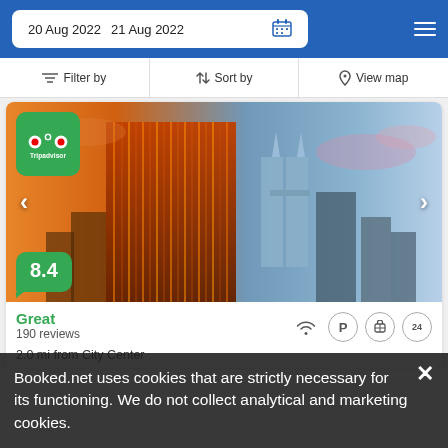20 Aug 2022   21 Aug 2022
Filter by   Sort by   View map
[Figure (photo): Hotel building exterior at sunset with Kuala Lumpur skyline including Petronas Towers, TripAdvisor badge top-left, score bubble 8.4 bottom-left, navigation arrows on sides]
Great
190 reviews
2.0 mi from City Center
Booked.net uses cookies that are strictly necessary for its functioning. We do not collect analytical and marketing cookies.